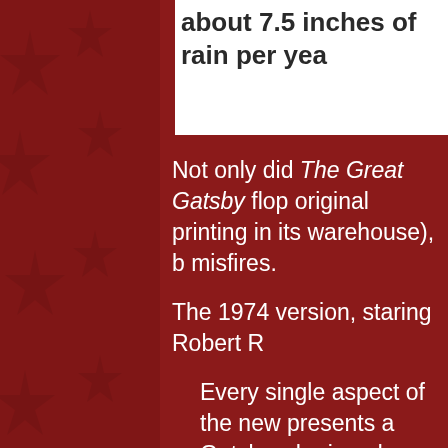about 7.5 inches of rain per yea...
Not only did The Great Gatsby flop... original printing in its warehouse), b... misfires.
The 1974 version, staring Robert R...
Every single aspect of the new... presents a Gatsby who is a dop... tragedy. . . .  If Redford fails, the... amour; or Bruce Dorn as Tom...